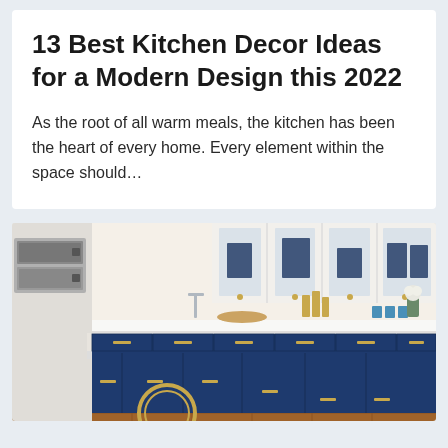13 Best Kitchen Decor Ideas for a Modern Design this 2022
As the root of all warm meals, the kitchen has been the heart of every home. Every element within the space should…
[Figure (photo): Modern kitchen with navy blue lower cabinets with gold hardware, white upper glass-front cabinets, white quartz countertops, hardwood floors, and stainless steel appliances on the left side.]